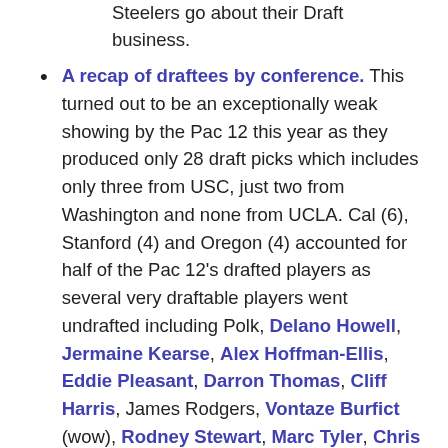Steelers go about their Draft business.
A recap of draftees by conference. This turned out to be an exceptionally weak showing by the Pac 12 this year as they produced only 28 draft picks which includes only three from USC, just two from Washington and none from UCLA. Cal (6), Stanford (4) and Oregon (4) accounted for half of the Pac 12's drafted players as several very draftable players went undrafted including Polk, Delano Howell, Jermaine Kearse, Alex Hoffman-Ellis, Eddie Pleasant, Darron Thomas, Cliff Harris, James Rodgers, Vontaze Burfict (wow), Rodney Stewart, Marc Tyler, Chris Galippo, Derrick Coleman and Paul Vassallo. In fact, Utah St (3) had more draftees than Washington St (0), UCLA (0), Oregon St (1) and Utah (1) combined.